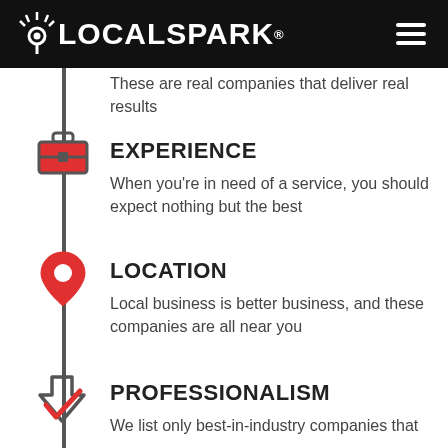[Figure (logo): LocalSpark logo with location pin icon in white on black header]
These are real companies that deliver real results
EXPERIENCE
When you're in need of a service, you should expect nothing but the best
LOCATION
Local business is better business, and these companies are all near you
PROFESSIONALISM
We list only best-in-industry companies that